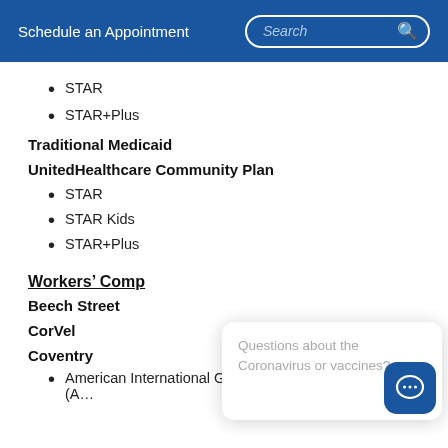Schedule an Appointment  Search
STAR
STAR+Plus
Traditional Medicaid
UnitedHealthcare Community Plan
STAR
STAR Kids
STAR+Plus
Workers' Comp
Beech Street
CorVel
Coventry
American International Group Health Care Network (A…
Questions about the Coronavirus or vaccines?